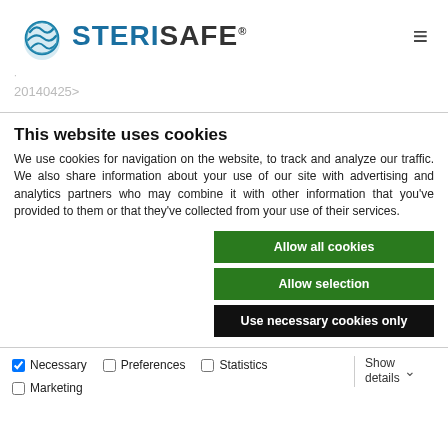[Figure (logo): STERISAFE logo with circular water/globe graphic icon and text]
.
20140425>
This website uses cookies
We use cookies for navigation on the website, to track and analyze our traffic. We also share information about your use of our site with advertising and analytics partners who may combine it with other information that you've provided to them or that they've collected from your use of their services.
Allow all cookies
Allow selection
Use necessary cookies only
Necessary  Preferences  Statistics  Marketing  Show details